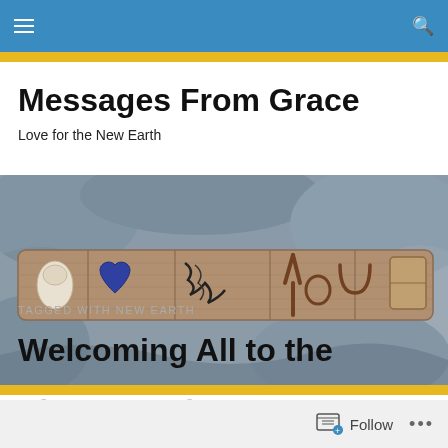Navigation bar with menu and search icons
Messages From Grace
Love for the New Earth
[Figure (photo): A wooden driftwood board with natural objects arranged to spell 'I Love You' — a shell for I, a heart-shaped stone for Love, seaweed for V, a Y-shaped twig, and 'ou' letters — set on rocky background.]
TAGGED WITH NEW EARTH
Welcoming All to the Playground
Follow